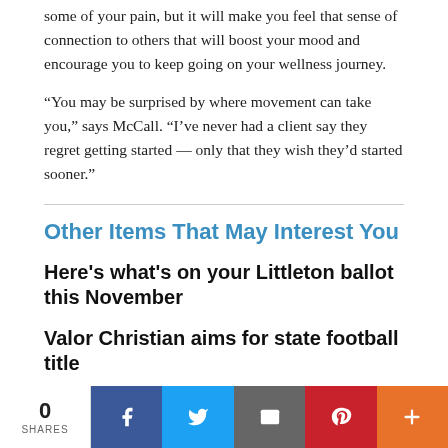some of your pain, but it will make you feel that sense of connection to others that will boost your mood and encourage you to keep going on your wellness journey.
“You may be surprised by where movement can take you,” says McCall. “I’ve never had a client say they regret getting started — only that they wish they’d started sooner.”
Other Items That May Interest You
Here’s what’s on your Littleton ballot this November
Valor Christian aims for state football title
Lutheran preps for another run through
0 SHARES | Facebook | Twitter | Email | Pinterest | More